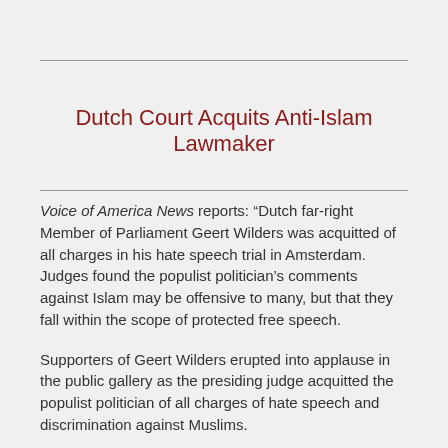Dutch Court Acquits Anti-Islam Lawmaker
Voice of America News reports: “Dutch far-right Member of Parliament Geert Wilders was acquitted of all charges in his hate speech trial in Amsterdam. Judges found the populist politician’s comments against Islam may be offensive to many, but that they fall within the scope of protected free speech.
Supporters of Geert Wilders erupted into applause in the public gallery as the presiding judge acquitted the populist politician of all charges of hate speech and discrimination against Muslims.
Judges called some of Wilders’ comments crude and denigrating – but not illegal. Although they found Wilders’ warning about a